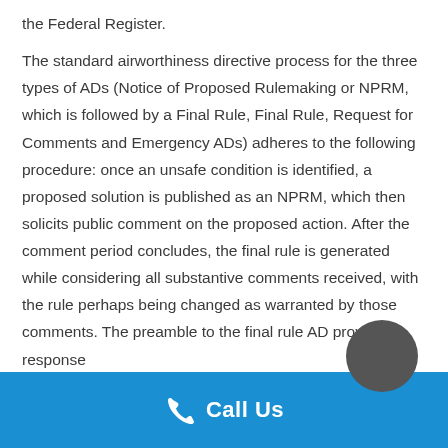the Federal Register.
The standard airworthiness directive process for the three types of ADs (Notice of Proposed Rulemaking or NPRM, which is followed by a Final Rule, Final Rule, Request for Comments and Emergency ADs) adheres to the following procedure: once an unsafe condition is identified, a proposed solution is published as an NPRM, which then solicits public comment on the proposed action. After the comment period concludes, the final rule is generated while considering all substantive comments received, with the rule perhaps being changed as warranted by those comments. The preamble to the final rule AD provides response
Call Us